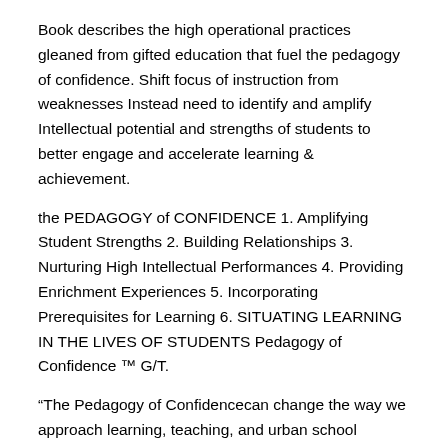Book describes the high operational practices gleaned from gifted education that fuel the pedagogy of confidence. Shift focus of instruction from weaknesses Instead need to identify and amplify Intellectual potential and strengths of students to better engage and accelerate learning & achievement.
the PEDAGOGY of CONFIDENCE 1. Amplifying Student Strengths 2. Building Relationships 3. Nurturing High Intellectual Performances 4. Providing Enrichment Experiences 5. Incorporating Prerequisites for Learning 6. SITUATING LEARNING IN THE LIVES OF STUDENTS Pedagogy of Confidence ™ G/T.
“The Pedagogy of Confidencecan change the way we approach learning, teaching, and urban school reform.
A remarkable achievement, this book should be read by every educator and policymaker truly interested in closing the achievement gap.” —Linda Darling-Hammond, Charles E. Ducommun Professor of Education, Stanford University/5(14). I’m an education major in the end of my first year of classes.